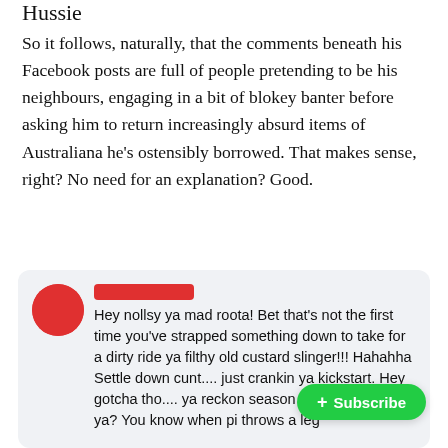Hussie
So it follows, naturally, that the comments beneath his Facebook posts are full of people pretending to be his neighbours, engaging in a bit of blokey banter before asking him to return increasingly absurd items of Australiana he’s ostensibly borrowed. That makes sense, right? No need for an explanation? Good.
[Figure (screenshot): Facebook comment screenshot with redacted profile picture (red circle) and redacted commenter name (red bar). Comment text: Hey nollsy ya mad roota! Bet that’s not the first time you’ve strapped something down to take for a dirty ride ya filthy old custard slinger!!! Hahahha Settle down cunt.... just crankin ya kickstart. Hey gotcha tho.... ya reckon season 4 of blue heelers ya? You know when pi throws a leg (partially visible, cut off). A green Subscribe button overlays the bottom right of the comment.]